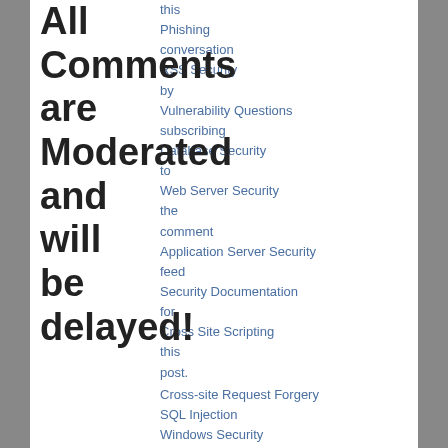this conversation by subscribing to the comment feed for this post.
Phishing
RSS Security
Vulnerability Questions
Database Security
Web Server Security
Application Server Security
Security Documentation
Cross Site Scripting
Cross-site Request Forgery
SQL Injection
Windows Security
Apache Security
Oracle Security
MySQL Security
Microsoft SQL Server Security
URL Scan
Mod Security
Penetration Testing
All Comments are Moderated and will be delayed!